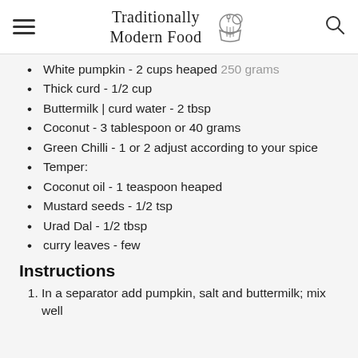Traditionally Modern Food
White pumpkin - 2 cups heaped 250 grams
Thick curd - 1/2 cup
Buttermilk | curd water - 2 tbsp
Coconut - 3 tablespoon or 40 grams
Green Chilli - 1 or 2 adjust according to your spice
Temper:
Coconut oil - 1 teaspoon heaped
Mustard seeds - 1/2 tsp
Urad Dal - 1/2 tbsp
curry leaves - few
Instructions
In a separator add pumpkin, salt and buttermilk; mix well